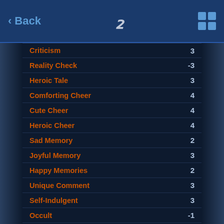< Back  [logo: 7]  [grid icon]
Criticism  3
Reality Check  -3
Heroic Tale  3
Comforting Cheer  4
Cute Cheer  4
Heroic Cheer  4
Sad Memory  2
Joyful Memory  3
Happy Memories  2
Unique Comment  3
Self-Indulgent  3
Occult  -1